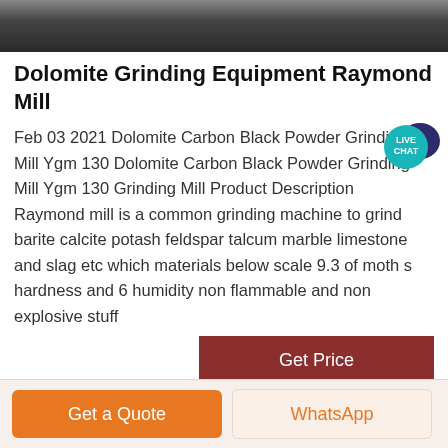[Figure (photo): Top strip showing industrial grinding equipment machinery in a dark workshop setting]
Dolomite Grinding Equipment Raymond Mill
Feb 03 2021 Dolomite Carbon Black Powder Grinding Mill Ygm 130 Dolomite Carbon Black Powder Grinding Mill Ygm 130 Grinding Mill Product Description Raymond mill is a common grinding machine to grind barite calcite potash feldspar talcum marble limestone and slag etc which materials below scale 9.3 of moth s hardness and 6 humidity non flammable and non explosive stuff
[Figure (illustration): Live Chat speech bubble badge in teal/dark blue colors with text LIVE CHAT]
Get Price
Get a Quote
WhatsApp